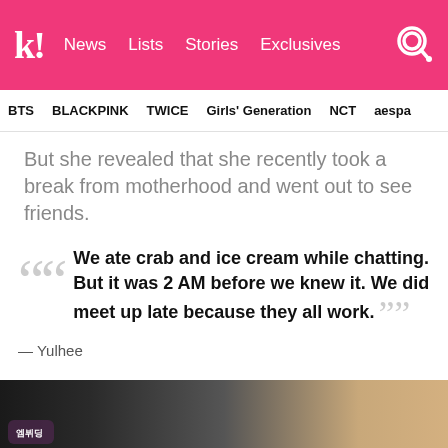k! News Lists Stories Exclusives [search]
BTS BLACKPINK TWICE Girls' Generation NCT aespa
But she revealed that she recently took a break from motherhood and went out to see friends.
"We ate crab and ice cream while chatting. But it was 2 AM before we knew it. We did meet up late because they all work." — Yulhee
[Figure (photo): Bottom portion of a video frame showing dark background with a logo and hands/objects partially visible]